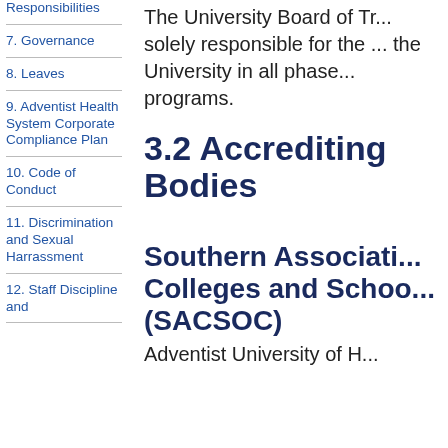Responsibilities
7. Governance
8. Leaves
9. Adventist Health System Corporate Compliance Plan
10. Code of Conduct
11. Discrimination and Sexual Harrassment
12. Staff Discipline and
The University Board of Tr... solely responsible for the ... the University in all phase... programs.
3.2 Accrediting Bodies
Southern Association of Colleges and Schools (SACSOC)
Adventist University of H...